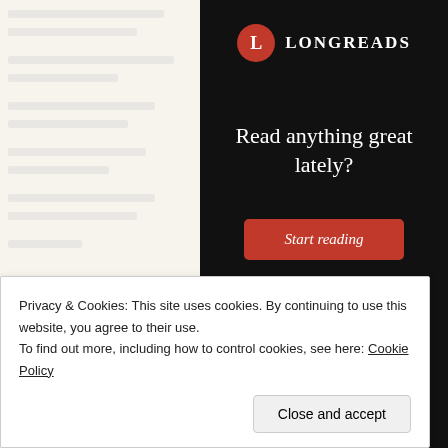[Figure (screenshot): Longreads advertisement panel with black background, red circular logo with 'L', LONGREADS wordmark, tagline 'Read anything great lately?', and red 'Start reading' button]
Share this:
Twitter   Facebook
Privacy & Cookies: This site uses cookies. By continuing to use this website, you agree to their use.
To find out more, including how to control cookies, see here: Cookie Policy
Close and accept